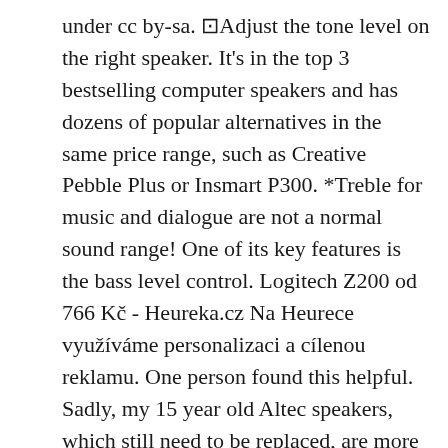under cc by-sa. ⊡Adjust the tone level on the right speaker. It's in the top 3 bestselling computer speakers and has dozens of popular alternatives in the same price range, such as Creative Pebble Plus or Insmart P300. *Treble for music and dialogue are not a normal sound range! One of its key features is the bass level control. Logitech Z200 od 766 Kč - Heureka.cz Na Heurece využíváme personalizaci a cílenou reklamu. One person found this helpful. Sadly, my 15 year old Altec speakers, which still need to be replaced, are more reliable than this. Ubuntu running on a Acer Chromebook does not detect standard audio output, but does have HDMI out. How to switch between headphones and speakers without unplugging headphones. These are the best speakers I've ever used! Logitech Z200 is $5.77 more expensive than the average computer speaker ($31.99). Any Condition New Open box Seller refurbished Used For parts or not working. Javascript function to return an array